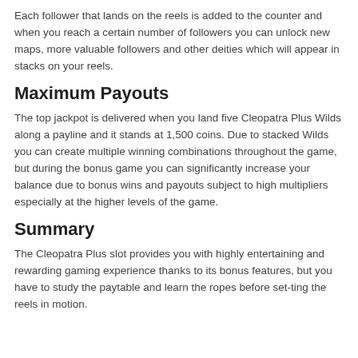Each follower that lands on the reels is added to the counter and when you reach a certain number of followers you can unlock new maps, more valuable followers and other deities which will appear in stacks on your reels.
Maximum Payouts
The top jackpot is delivered when you land five Cleopatra Plus Wilds along a payline and it stands at 1,500 coins. Due to stacked Wilds you can create multiple winning combinations throughout the game, but during the bonus game you can significantly increase your balance due to bonus wins and payouts subject to high multipliers especially at the higher levels of the game.
Summary
The Cleopatra Plus slot provides you with highly entertaining and rewarding gaming experience thanks to its bonus features, but you have to study the paytable and learn the ropes before set-ting the reels in motion.